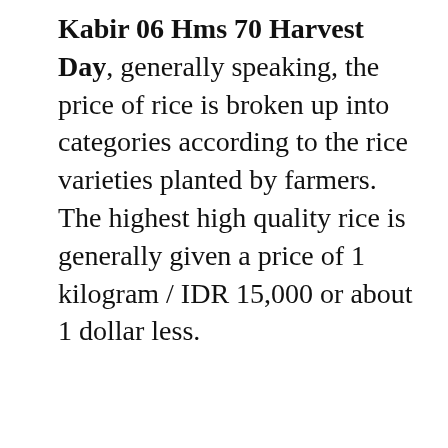Kabir 06 Hms 70 Harvest Day, generally speaking, the price of rice is broken up into categories according to the rice varieties planted by farmers. The highest high quality rice is generally given a price of 1 kilogram / IDR 15,000 or about 1 dollar less.